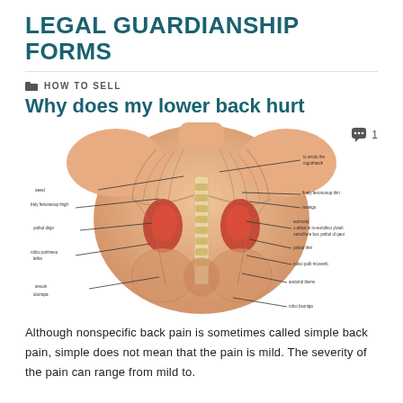LEGAL GUARDIANSHIP FORMS
HOW TO SELL
Why does my lower back hurt
[Figure (illustration): Anatomical illustration of the human torso showing internal organs and structures of the lower back region, including kidneys, spine, and surrounding musculature, with labeled callout lines pointing to various anatomical structures.]
Although nonspecific back pain is sometimes called simple back pain, simple does not mean that the pain is mild. The severity of the pain can range from mild to.